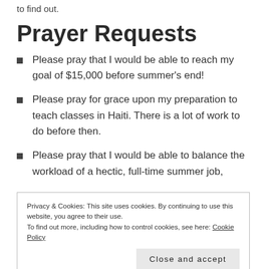to find out.
Prayer Requests
Please pray that I would be able to reach my goal of $15,000 before summer's end!
Please pray for grace upon my preparation to teach classes in Haiti. There is a lot of work to do before then.
Please pray that I would be able to balance the workload of a hectic, full-time summer job,
Privacy & Cookies: This site uses cookies. By continuing to use this website, you agree to their use. To find out more, including how to control cookies, see here: Cookie Policy
way, please do not hesitate to ask!